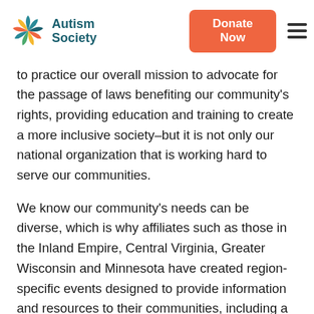Autism Society | Donate Now
to practice our overall mission to advocate for the passage of laws benefiting our community's rights, providing education and training to create a more inclusive society–but it is not only our national organization that is working hard to serve our communities.
We know our community's needs can be diverse, which is why affiliates such as those in the Inland Empire, Central Virginia, Greater Wisconsin and Minnesota have created region-specific events designed to provide information and resources to their communities, including a Virtual Hero Walk, a COVID-19 Relief Fund